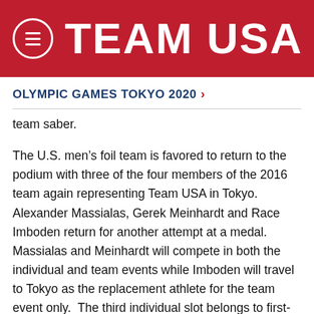TEAM USA
OLYMPIC GAMES TOKYO 2020 >
team saber.
The U.S. men's foil team is favored to return to the podium with three of the four members of the 2016 team again representing Team USA in Tokyo. Alexander Massialas, Gerek Meinhardt and Race Imboden return for another attempt at a medal. Massialas and Meinhardt will compete in both the individual and team events while Imboden will travel to Tokyo as the replacement athlete for the team event only.  The third individual slot belongs to first-time Olympian Nick Itkin.
The women's foil squad now has earned three-straight